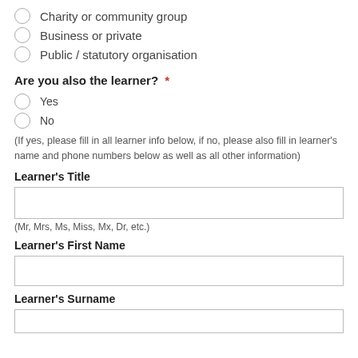Charity or community group
Business or private
Public / statutory organisation
Are you also the learner? *
Yes
No
(If yes, please fill in all learner info below, if no, please also fill in learner's name and phone numbers below as well as all other information)
Learner's Title
(Mr, Mrs, Ms, Miss, Mx, Dr, etc.)
Learner's First Name
Learner's Surname